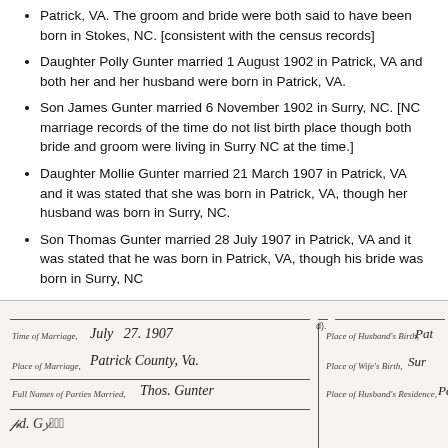Patrick, VA. The groom and bride were both said to have been born in Stokes, NC. [consistent with the census records]
Daughter Polly Gunter married 1 August 1902 in Patrick, VA and both her and her husband were born in Patrick, VA.
Son James Gunter married 6 November 1902 in Surry, NC. [NC marriage records of the time do not list birth place though both bride and groom were living in Surry NC at the time.]
Daughter Mollie Gunter married 21 March 1907 in Patrick, VA and it was stated that she was born in Patrick, VA, though her husband was born in Surry, NC.
Son Thomas Gunter married 28 July 1907 in Patrick, VA and it was stated that he was born in Patrick, VA, though his bride was born in Surry, NC
[Figure (photo): Scanned historical marriage record form with handwritten entries. Time of Marriage: July 27, 1907. Place of Marriage: Patrick County, Va. Full Names of Parties Married: Thos. Gunter. Place of Husband's Birth: Pat[rick]. Place of Wife's Birth: Sur[ry]. Place of Husband's Residence: Pa[trick].]